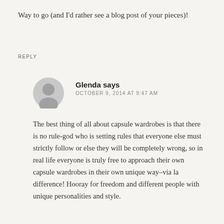Way to go (and I'd rather see a blog post of your pieces)!
REPLY
Glenda says
OCTOBER 9, 2014 AT 9:47 AM
The best thing of all about capsule wardrobes is that there is no rule-god who is setting rules that everyone else must strictly follow or else they will be completely wrong, so in real life everyone is truly free to approach their own capsule wardrobes in their own unique way–via la difference! Hooray for freedom and different people with unique personalities and style.